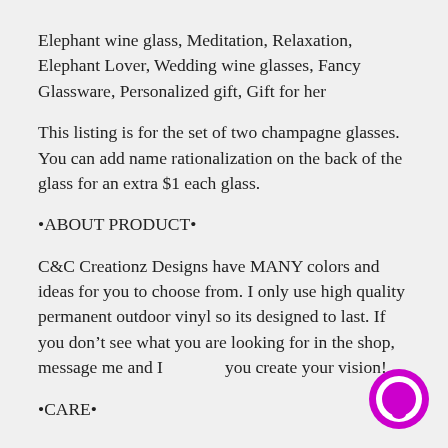Elephant wine glass, Meditation, Relaxation, Elephant Lover, Wedding wine glasses, Fancy Glassware, Personalized gift, Gift for her
This listing is for the set of two champagne glasses. You can add name rationalization on the back of the glass for an extra $1 each glass.
•ABOUT PRODUCT•
C&C Creationz Designs have MANY colors and ideas for you to choose from. I only use high quality permanent outdoor vinyl so its designed to last. If you don't see what you are looking for in the shop, message me and I'll you create your vision!
•CARE•
[Figure (illustration): Magenta/purple circular chat bubble icon in bottom right corner]